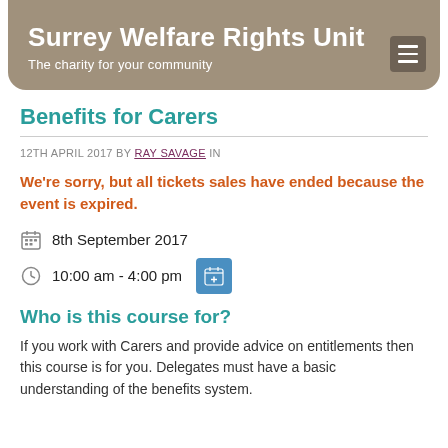Surrey Welfare Rights Unit — The charity for your community
Benefits for Carers
12TH APRIL 2017 BY RAY SAVAGE IN
We're sorry, but all tickets sales have ended because the event is expired.
8th September 2017
10:00 am - 4:00 pm
Who is this course for?
If you work with Carers and provide advice on entitlements then this course is for you. Delegates must have a basic understanding of the benefits system.